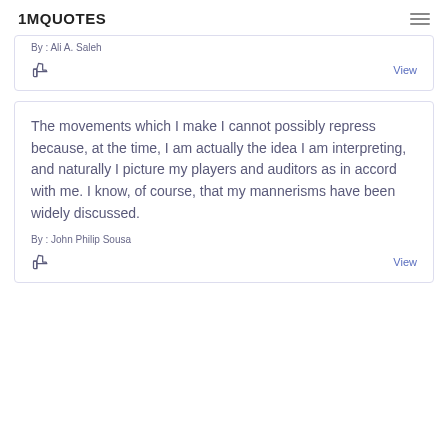1MQUOTES
By : Ali A. Saleh
View
The movements which I make I cannot possibly repress because, at the time, I am actually the idea I am interpreting, and naturally I picture my players and auditors as in accord with me. I know, of course, that my mannerisms have been widely discussed.
By : John Philip Sousa
View